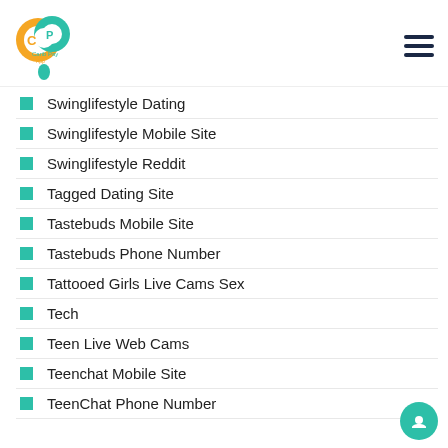[Figure (logo): Carib Pay App logo - orange and teal circular CP design with text]
Swinglifestyle Dating
Swinglifestyle Mobile Site
Swinglifestyle Reddit
Tagged Dating Site
Tastebuds Mobile Site
Tastebuds Phone Number
Tattooed Girls Live Cams Sex
Tech
Teen Live Web Cams
Teenchat Mobile Site
TeenChat Phone Number